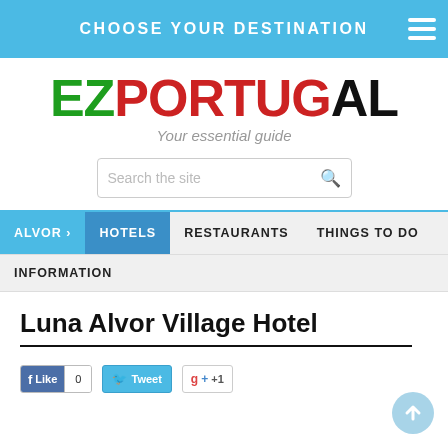CHOOSE YOUR DESTINATION
EZPORTUGAL — Your essential guide
Search the site
ALVOR > HOTELS RESTAURANTS THINGS TO DO INFORMATION
Luna Alvor Village Hotel
Like 0   Tweet   +1